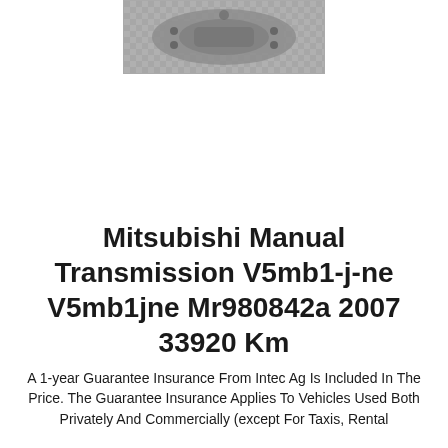[Figure (photo): Photo of a Mitsubishi manual transmission gearbox unit, photographed from above on a checkered surface]
Mitsubishi Manual Transmission V5mb1-j-ne V5mb1jne Mr980842a 2007 33920 Km
A 1-year Guarantee Insurance From Intec Ag Is Included In The Price. The Guarantee Insurance Applies To Vehicles Used Both Privately And Commercially (except For Taxis, Rental